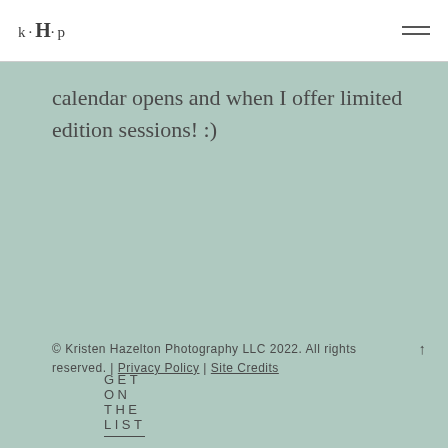k·H·p
calendar opens and when I offer limited edition sessions! :)
GET ON THE LIST
© Kristen Hazelton Photography LLC 2022. All rights reserved. | Privacy Policy | Site Credits